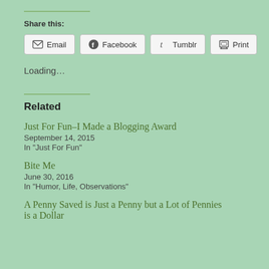Share this:
[Figure (screenshot): Share buttons row: Email, Facebook, Tumblr, Print]
Loading...
Related
Just For Fun–I Made a Blogging Award
September 14, 2015
In "Just For Fun"
Bite Me
June 30, 2016
In "Humor, Life, Observations"
A Penny Saved is Just a Penny but a Lot of Pennies is a Dollar